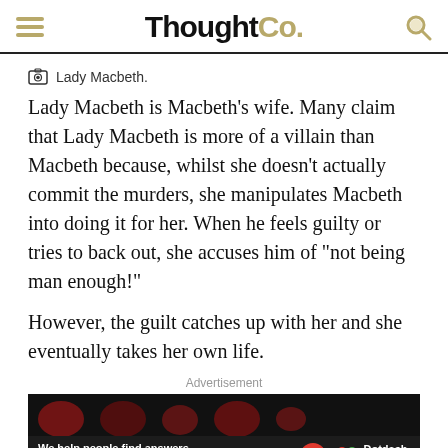ThoughtCo.
Lady Macbeth.
Lady Macbeth is Macbeth's wife. Many claim that Lady Macbeth is more of a villain than Macbeth because, whilst she doesn't actually commit the murders, she manipulates Macbeth into doing it for her. When he feels guilty or tries to back out, she accuses him of "not being man enough!"
However, the guilt catches up with her and she eventually takes her own life.
[Figure (other): Advertisement banner: 'We help people find answers, solve problems and get inspired.' with Dotdash Meredith logo]